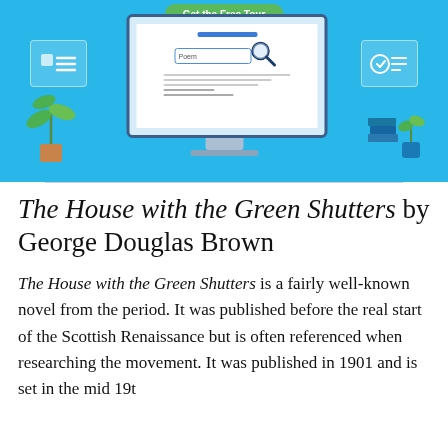[Figure (illustration): Promotional banner with blue background showing a stylized computer monitor with a search bar labeled 'Poem' and a magnifying glass icon, flanked by decorative plant and book illustrations. A green 'Get the Free Tour' button appears at the top.]
The House with the Green Shutters by George Douglas Brown
The House with the Green Shutters is a fairly well-known novel from the period. It was published before the real start of the Scottish Renaissance but is often referenced when researching the movement. It was published in 1901 and is set in the mid 19t...